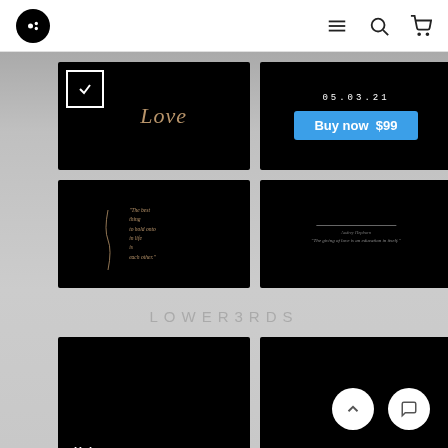MotionArray website header with logo, menu, search, and cart icons
[Figure (screenshot): Black thumbnail showing 'Love' script text in gold]
[Figure (screenshot): Black thumbnail with date 05.03.21 and blue Buy now $99 button]
[Figure (screenshot): Black thumbnail with handwritten quote about holding on to life and each other]
[Figure (screenshot): Black thumbnail with italic quote text]
LOWER3RDS
[Figure (screenshot): Black lower third thumbnail with Helen and Steve names]
[Figure (screenshot): Black lower third thumbnail with Julie and Mark script text]